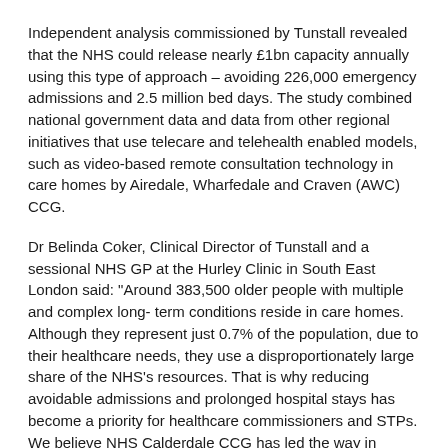Independent analysis commissioned by Tunstall revealed that the NHS could release nearly £1bn capacity annually using this type of approach – avoiding 226,000 emergency admissions and 2.5 million bed days. The study combined national government data and data from other regional initiatives that use telecare and telehealth enabled models, such as video-based remote consultation technology in care homes by Airedale, Wharfedale and Craven (AWC) CCG.
Dr Belinda Coker, Clinical Director of Tunstall and a sessional NHS GP at the Hurley Clinic in South East London said: "Around 383,500 older people with multiple and complex long- term conditions reside in care homes. Although they represent just 0.7% of the population, due to their healthcare needs, they use a disproportionately large share of the NHS's resources. That is why reducing avoidable admissions and prolonged hospital stays has become a priority for healthcare commissioners and STPs. We believe NHS Calderdale CCG has led the way in showing that proactive management by highly-skilled multidisciplinary teams using technology in care homes could deliver significant efficiencies and release major capacity while at the same time providing a high-quality service."